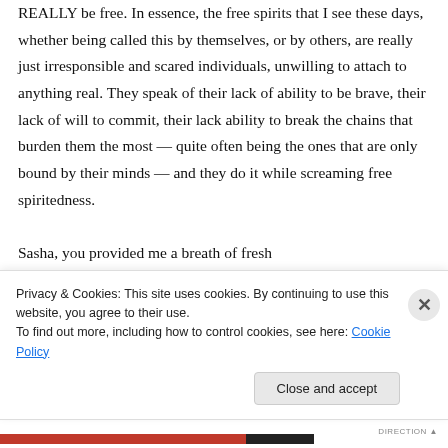REALLY be free. In essence, the free spirits that I see these days, whether being called this by themselves, or by others, are really just irresponsible and scared individuals, unwilling to attach to anything real. They speak of their lack of ability to be brave, their lack of will to commit, their lack ability to break the chains that burden them the most — quite often being the ones that are only bound by their minds — and they do it while screaming free spiritedness.
Sasha, you provided me a breath of fresh
Privacy & Cookies: This site uses cookies. By continuing to use this website, you agree to their use.
To find out more, including how to control cookies, see here: Cookie Policy